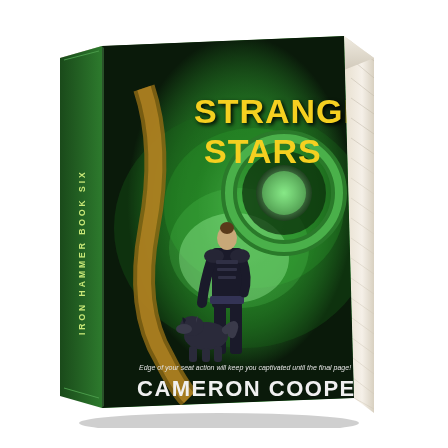[Figure (photo): A 3D rendered paperback book titled 'Stranger Stars' by Cameron Cooper. The cover shows a woman in dark tactical gear walking away with a dog, facing a large alien creature and glowing green space background. The spine reads 'Iron Hammer Book Six'. The author name 'Cameron Cooper' is displayed prominently at the bottom. A tagline reads 'Edge of your seat action will keep you captivated until the final page!']